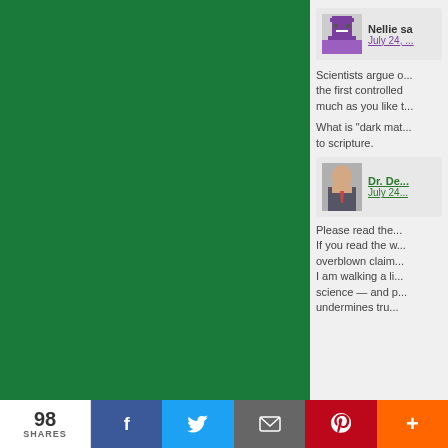[Figure (illustration): Green sidebar/background panel on the left side of the page]
Nellie sa...
July 24, ...
Scientists argue o... the first controlled... much as you like t...
What is “dark mat... to scripture.
Dr. De...
July 24...
Please read the... If you read the w... overblown claim... I am walking a li... science — and p... undermines tru...
98 SHARES  f  [Twitter]  [Email]  [Pinterest]  +